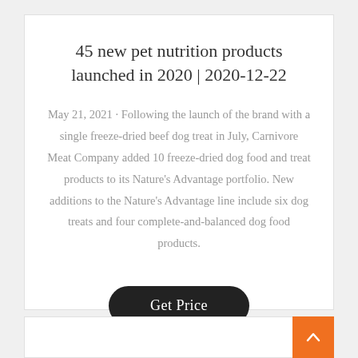45 new pet nutrition products launched in 2020 | 2020-12-22
May 21, 2021 · Following the launch of the brand with a single freeze-dried beef dog treat in July, Carnivore Meat Company added 10 freeze-dried dog food and treat products to its Nature's Advantage portfolio. New additions to the Nature's Advantage line include six dog treats and four complete-and-balanced dog food products.
Get Price